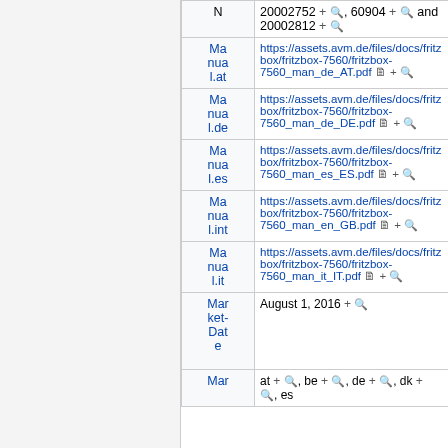| Property | Value |
| --- | --- |
| N | 20002752 + 🔍, 60904 + 🔍 and 20002812 + 🔍 |
| Manual.at | https://assets.avm.de/files/docs/fritzbox/fritzbox-7560/fritzbox-7560_man_de_AT.pdf 🗋 + 🔍 |
| Manual.de | https://assets.avm.de/files/docs/fritzbox/fritzbox-7560/fritzbox-7560_man_de_DE.pdf 🗋 + 🔍 |
| Manual.es | https://assets.avm.de/files/docs/fritzbox/fritzbox-7560/fritzbox-7560_man_es_ES.pdf 🗋 + 🔍 |
| Manual.int | https://assets.avm.de/files/docs/fritzbox/fritzbox-7560/fritzbox-7560_man_en_GB.pdf 🗋 + 🔍 |
| Manual.it | https://assets.avm.de/files/docs/fritzbox/fritzbox-7560/fritzbox-7560_man_it_IT.pdf 🗋 + 🔍 |
| Market-Date | August 1, 2016 + 🔍 |
| Mar | at + 🔍, be + 🔍, de + 🔍, dk + 🔍, es |